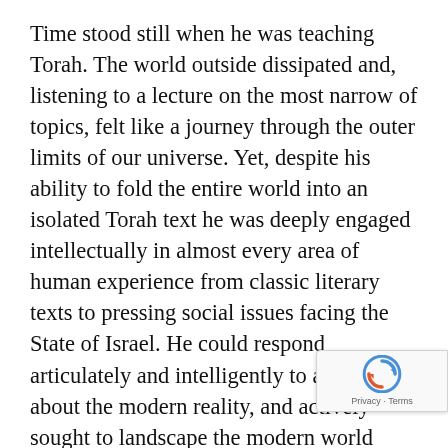Time stood still when he was teaching Torah. The world outside dissipated and, listening to a lecture on the most narrow of topics, felt like a journey through the outer limits of our universe. Yet, despite his ability to fold the entire world into an isolated Torah text he was deeply engaged intellectually in almost every area of human experience from classic literary texts to pressing social issues facing the State of Israel. He could respond articulately and intelligently to any query about the modern reality, and actively sought to landscape the modern world with ancient Jewish morality and faith.
A gadol doesn't merely deepen the experience of his students, he stretches their religious ide… and thereby invigorates it. He teaches his students…